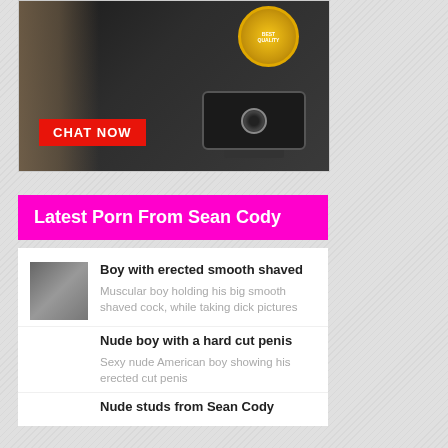[Figure (photo): Advertisement showing a webcam with a CHAT NOW button and a gold quality badge]
Latest Porn From Sean Cody
Boy with erected smooth shaved - Muscular boy holding his big smooth shaved cock, while taking dick pictures
Nude boy with a hard cut penis - Sexy nude American boy showing his erected cut penis
Nude studs from Sean Cody